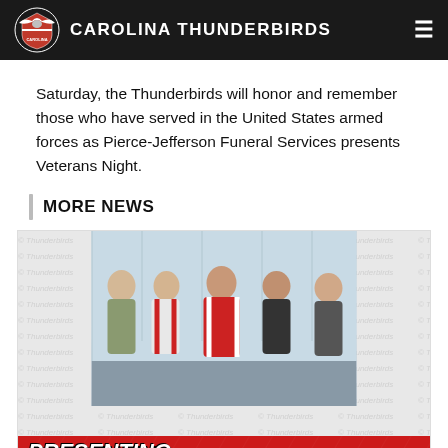CAROLINA THUNDERBIRDS
Saturday, the Thunderbirds will honor and remember those who have served in the United States armed forces as Pierce-Jefferson Funeral Services presents Veterans Night.
MORE NEWS
[Figure (photo): News card image showing a group of five people posing indoors, two wearing Carolina Thunderbirds jerseys. Below the photo is a red panel with 'PRESENTING SPONSOR' text in large italic font, and a 'FLOW x Thunderbirds' logo arrangement.]